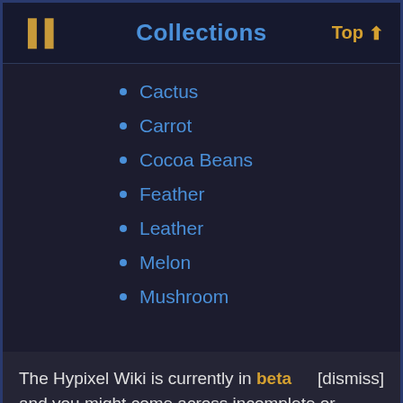Collections   Top
Cactus
Carrot
Cocoa Beans
Feather
Leather
Melon
Mushroom
The Hypixel Wiki is currently in beta and you might come across incomplete or poorly formatted pages. Please report any issues you encounter here. [dismiss]
Raw Chicken